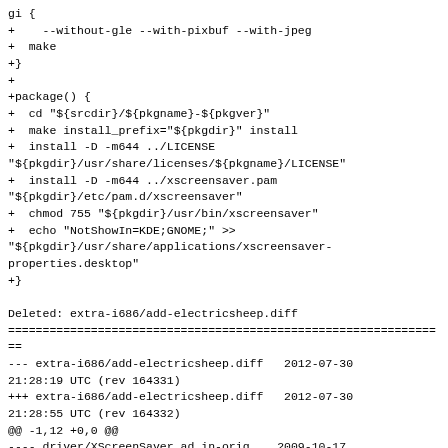gi {
+    --without-gle --with-pixbuf --with-jpeg
+  make
+}
+
+package() {
+  cd "${srcdir}/${pkgname}-${pkgver}"
+  make install_prefix="${pkgdir}" install
+  install -D -m644 ../LICENSE
"${pkgdir}/usr/share/licenses/${pkgname}/LICENSE"
+  install -D -m644 ../xscreensaver.pam
"${pkgdir}/etc/pam.d/xscreensaver"
+  chmod 755 "${pkgdir}/usr/bin/xscreensaver"
+  echo "NotShowIn=KDE;GNOME;" >>
"${pkgdir}/usr/share/applications/xscreensaver-properties.desktop"
+}

Deleted: extra-i686/add-electricsheep.diff
================================================================
--- extra-i686/add-electricsheep.diff   2012-07-30
21:28:19 UTC (rev 164331)
+++ extra-i686/add-electricsheep.diff   2012-07-30
21:28:55 UTC (rev 164332)
@@ -1,12 +0,0 @@
---- driver/XScreenSaver.ad.in-orig    2009-10-17
02:19:06.000000000 -0400
-+++ driver/XScreenSaver.ad.in  2009-10-17
02:21:16.000000000 -0400
-@@ -347,7 +347,8 @@
 - @CL_KLUDGE@ CL+